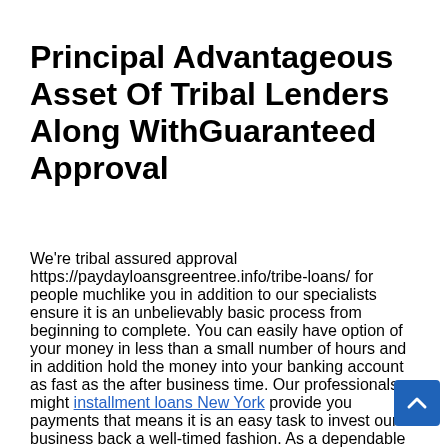Principal Advantageous Asset Of Tribal Lenders Along WithGuaranteed Approval
We're tribal assured approval https://paydayloansgreentree.info/tribe-loans/ for people muchlike you in addition to our specialists ensure it is an unbelievably basic process from beginning to complete. You can easily have option of your money in less than a small number of hours and in addition hold the money into your banking account as fast as the after business time. Our professionals might installment loans New York provide you payments that means it is an easy task to invest our business back a well-timed fashion. As a dependable tribal company that provides installment loans in addition to our group just simply take payment per month originating from your pay-roll so that you usually do not must bother withskipping settlements or every being later. Our team